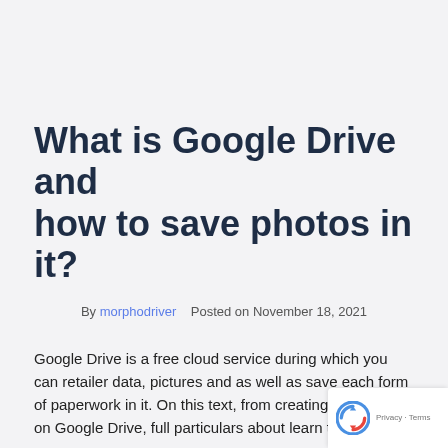What is Google Drive and how to save photos in it?
By morphodriver   Posted on November 18, 2021
Google Drive is a free cloud service during which you can retailer data, pictures and as well as save each form of paperwork in it. On this text, from creating an account on Google Drive, full particulars about learn to use it!
Google Drive is a extremely regarded free cloud storage service that allows you to save assorted data on-line to the cloud after which entry them out of your smartphone, capsule